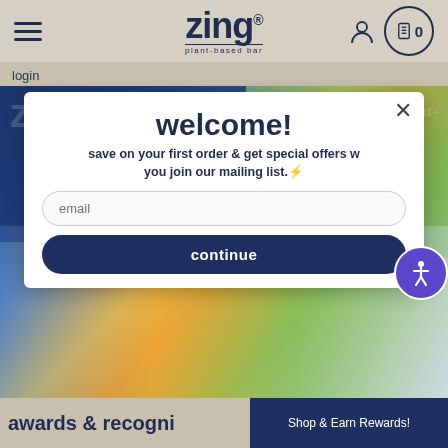zing® plant-based bar — navigation with login
login
[Figure (screenshot): Colorful product packaging collage background showing Zing plant-based bar products in blue, green, orange, and other colors]
welcome!
save on your first order & get special offers when you join our mailing list.⚡
email
continue
Shop & Earn Rewards!
awards & recogni